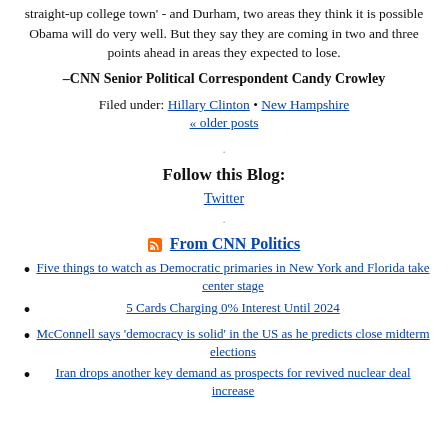straight-up college town' - and Durham, two areas they think it is possible Obama will do very well. But they say they are coming in two and three points ahead in areas they expected to lose.
–CNN Senior Political Correspondent Candy Crowley
Filed under: Hillary Clinton • New Hampshire
« older posts
Follow this Blog:
Twitter
From CNN Politics
Five things to watch as Democratic primaries in New York and Florida take center stage
5 Cards Charging 0% Interest Until 2024
McConnell says 'democracy is solid' in the US as he predicts close midterm elections
Iran drops another key demand as prospects for revived nuclear deal increase